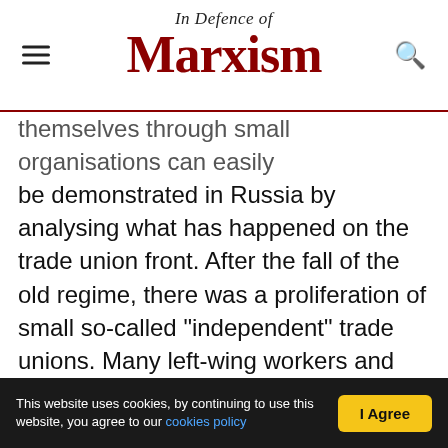In Defence of Marxism
themselves through small organisations can easily be demonstrated in Russia by analysing what has happened on the trade union front. After the fall of the old regime, there was a proliferation of small so-called "independent" trade unions. Many left-wing workers and youth joined them, as an act of rejection of the old Stalinist "unions". Under the Stalinist regime, these were not unions at all, but organs of the bureaucratic-totalitarian state (as was the "Communist" Party). Their purpose was not to represent the workers, but to police and control them. This was in complete violation of Lenin's policy on the trade unions, which, he insisted
This website uses cookies, by continuing to use this website, you agree to our cookies policy